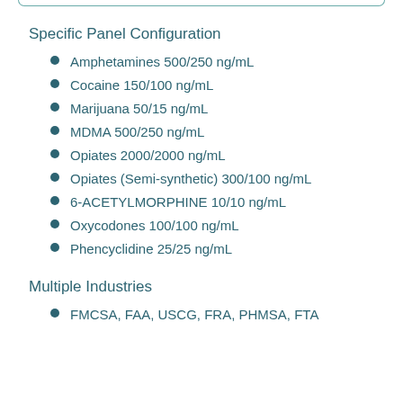Specific Panel Configuration
Amphetamines 500/250 ng/mL
Cocaine 150/100 ng/mL
Marijuana 50/15 ng/mL
MDMA 500/250 ng/mL
Opiates 2000/2000 ng/mL
Opiates (Semi-synthetic) 300/100 ng/mL
6-ACETYLMORPHINE 10/10 ng/mL
Oxycodones 100/100 ng/mL
Phencyclidine 25/25 ng/mL
Multiple Industries
FMCSA, FAA, USCG, FRA, PHMSA, FTA